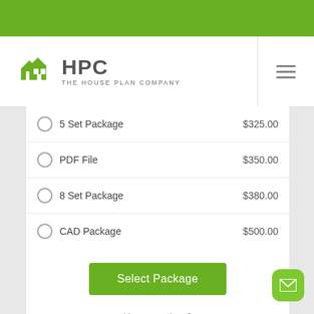[Figure (logo): HPC The House Plan Company logo with green house icon]
5 Set Package  $325.00
PDF File  $350.00
8 Set Package  $380.00
CAD Package  $500.00
Select Package
Have questions?
Prefer to order by phone?
Give us a call:
1-866-688-6970